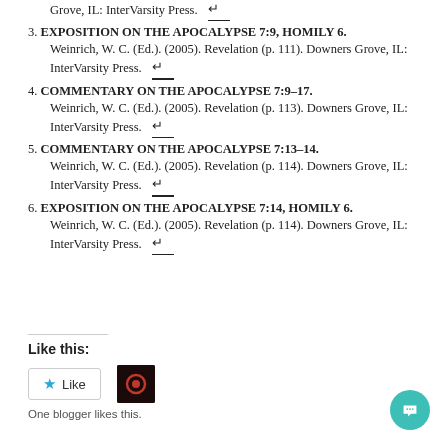Grove, IL: InterVarsity Press. [return arrow]
3. EXPOSITION ON THE APOCALYPSE 7:9, HOMILY 6. Weinrich, W. C. (Ed.). (2005). Revelation (p. 111). Downers Grove, IL: InterVarsity Press. [return arrow]
4. COMMENTARY ON THE APOCALYPSE 7:9–17. Weinrich, W. C. (Ed.). (2005). Revelation (p. 113). Downers Grove, IL: InterVarsity Press. [return arrow]
5. COMMENTARY ON THE APOCALYPSE 7:13–14. Weinrich, W. C. (Ed.). (2005). Revelation (p. 114). Downers Grove, IL: InterVarsity Press. [return arrow]
6. EXPOSITION ON THE APOCALYPSE 7:14, HOMILY 6. Weinrich, W. C. (Ed.). (2005). Revelation (p. 114). Downers Grove, IL: InterVarsity Press. [return arrow]
Like this:
One blogger likes this.